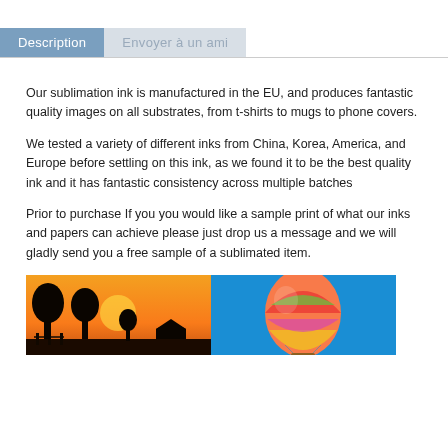Description | Envoyer à un ami
Our sublimation ink is manufactured in the EU, and produces fantastic quality images on all substrates, from t-shirts to mugs to phone covers.
We tested a variety of different inks from China, Korea, America, and Europe before settling on this ink, as we found it to be the best quality ink and it has fantastic consistency across multiple batches
Prior to purchase If you you would like a sample print of what our inks and papers can achieve please just drop us a message and we will gladly send you a free sample of a sublimated item.
[Figure (photo): Two-panel image: left panel shows silhouette of trees against an orange/yellow sunset sky; right panel shows a colorful hot air balloon against a blue sky.]